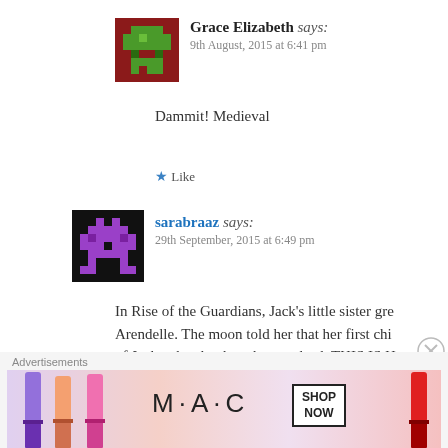[Figure (other): Avatar image for Grace Elizabeth - red/brown pixelated game sprite]
Grace Elizabeth says:
9th August, 2015 at 6:41 pm
Dammit! Medieval
★ Like
[Figure (other): Avatar image for sarabraaz - black background with purple pixelated game sprite]
sarabraaz says:
29th September, 2015 at 6:49 pm
In Rise of the Guardians, Jack's little sister gre Arendelle. The moon told her that her first chi of Jack, who she thought was dead. THIS IS H
★ Like
Advertisements
[Figure (other): M·A·C cosmetics advertisement banner showing lipsticks with SHOP NOW button]